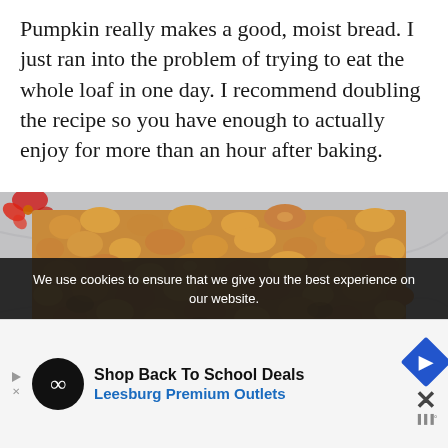Pumpkin really makes a good, moist bread. I just ran into the problem of trying to eat the whole loaf in one day. I recommend doubling the recipe so you have enough to actually enjoy for more than an hour after baking.
[Figure (photo): Top-down photo of a crumble-topped pumpkin bread loaf on a marble or parchment surface, with a red flower visible in the top left corner.]
We use cookies to ensure that we give you the best experience on our website.
Shop Back To School Deals
Leesburg Premium Outlets